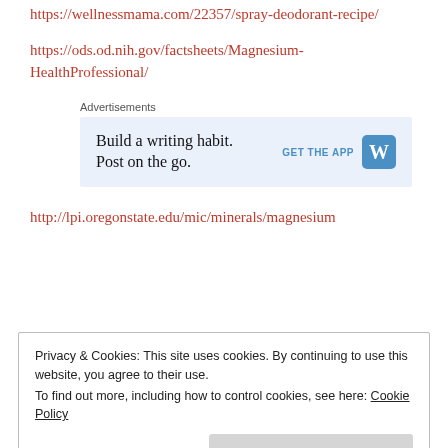https://wellnessmama.com/22357/spray-deodorant-recipe/
https://ods.od.nih.gov/factsheets/Magnesium-HealthProfessional/
[Figure (other): Advertisement banner: Build a writing habit. Post on the go. GET THE APP [WordPress logo]]
http://lpi.oregonstate.edu/mic/minerals/magnesium
Privacy & Cookies: This site uses cookies. By continuing to use this website, you agree to their use. To find out more, including how to control cookies, see here: Cookie Policy
everything.